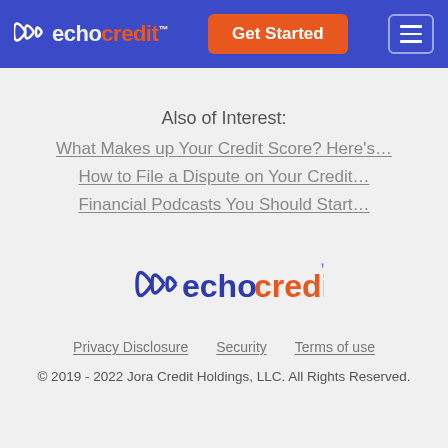[Figure (logo): Echo Credit logo in website header navigation bar with orange Get Started button and hamburger menu]
Also of Interest:
What Makes up Your Credit Score? Here's…
How to File a Dispute on Your Credit…
Financial Podcasts You Should Start…
[Figure (logo): Echo Credit logo centered in footer area]
Privacy Disclosure   Security   Terms of use
© 2019 - 2022 Jora Credit Holdings, LLC. All Rights Reserved.